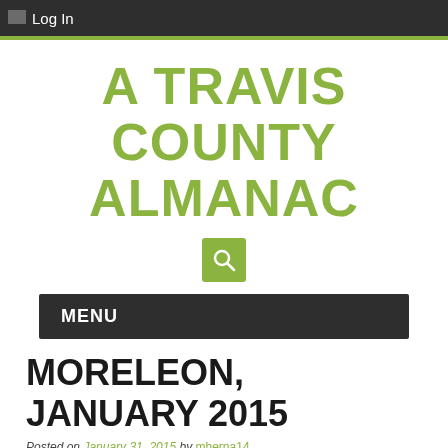Log In
A TRAVIS COUNTY ALMANAC
[Figure (other): Search icon button with magnifying glass on green background]
MENU
MORELEON, JANUARY 2015
Posted on January 31, 2015 by mherna14